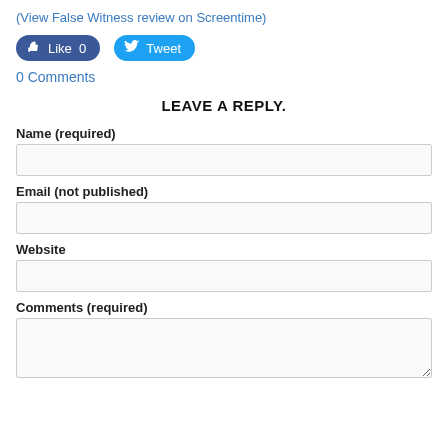(View False Witness review on Screentime)
[Figure (screenshot): Facebook Like button showing '0' likes and Twitter Tweet button]
0 Comments
LEAVE A REPLY.
Name (required)
Email (not published)
Website
Comments (required)